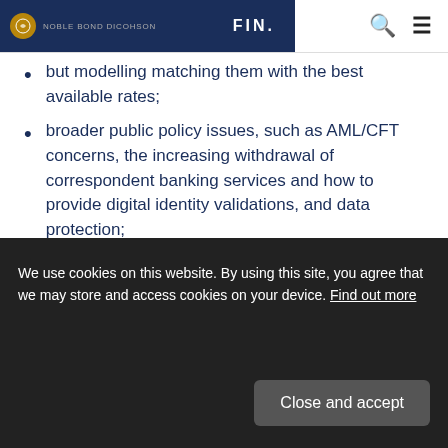NOBLE BOND DICOHSON | FIN.
but modelling matching them with the best available rates;
broader public policy issues, such as AML/CFT concerns, the increasing withdrawal of correspondent banking services and how to provide digital identity validations, and data protection;
potential impact of FinTech on financial stability – by looking at which FinTech activities are traditional banking activities by another name, and which could change the safety and soundness of regulated firms or
We use cookies on this website. By using this site, you agree that we may store and access cookies on your device. Find out more
Close and accept